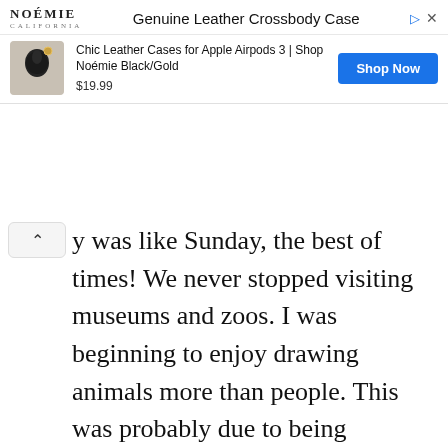[Figure (other): Advertisement banner for NOÉMIE Genuine Leather Crossbody Case featuring Chic Leather Cases for Apple Airpods 3, priced at $19.99 with a Shop Now button]
y was like Sunday, the best of times! We never stopped visiting museums and zoos. I was beginning to enjoy drawing animals more than people. This was probably due to being required to clean up my rumpled characters.One day in 1959, Doubleday publishers called me! They had been keeping a file of my Saks Fifth Avenue ads and wanted me to illustrate a book that they thought my work would be suitable for. It was New Shoes by Sam Vaughan, a story about a little girl who was going to get